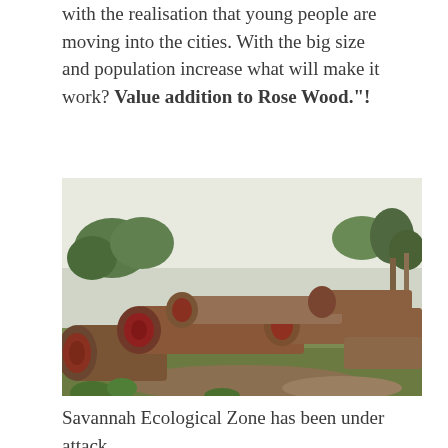with the realisation that young people are moving into the cities. With the big size and population increase what will make it work? Value addition to Rose Wood."!
[Figure (photo): Photograph of cut rosewood logs piled in a savannah landscape with trees in the background. The logs show reddish-brown heartwood and are lying on grassy ground.]
Savannah Ecological Zone has been under attack